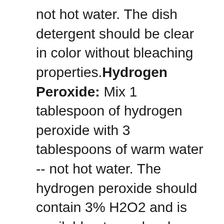not hot water. The dish detergent should be clear in color without bleaching properties.Hydrogen Peroxide: Mix 1 tablespoon of hydrogen peroxide with 3 tablespoons of warm water -- not hot water. The hydrogen peroxide should contain 3% H2O2 and is available at your local grocery store or drug store. WARNING: This product has a bleaching affect and is best used on very light colors.Ammonia: Mix ¼ cup of clear ammonia with 1 cup of warm water -- not hot water. Ammonia is a moderate alkaline. Ammonia is available at your local grocery store or drug store. WARNING: This product has a bleaching affect and is best used on very light colors.Vinegar: Mix ¼ cup of white vinegar with 1 cup of warm water -- not hot water. Vinegar is a moderate acid. Vinegar is available at your local grocery store or drug store.Step-by-Step Procedure.Use a spool to gently scrape and scoop up the excess starting on the edge and working